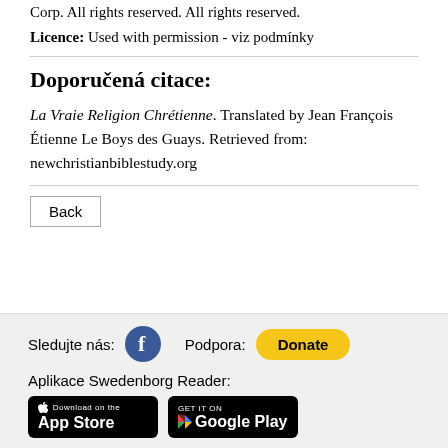Corp. All rights reserved. All rights reserved.
Licence: Used with permission - viz podmínky
Doporučená citace:
La Vraie Religion Chrétienne. Translated by Jean François Étienne Le Boys des Guays. Retrieved from: newchristianbiblestudy.org
Back
Sledujte nás:
Podpora:
Donate
Aplikace Swedenborg Reader:
[Figure (other): Download on the App Store badge]
[Figure (other): Get it on Google Play badge]